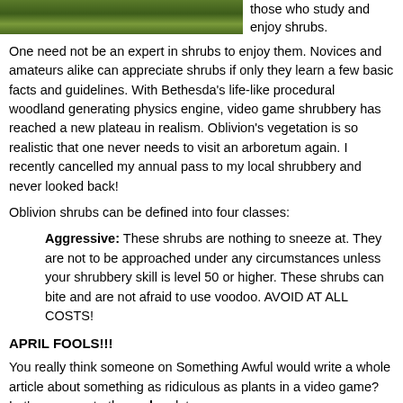[Figure (photo): Partial photograph of shrubs/vegetation at the top left of the page]
those who study and enjoy shrubs.
One need not be an expert in shrubs to enjoy them. Novices and amateurs alike can appreciate shrubs if only they learn a few basic facts and guidelines. With Bethesda's life-like procedural woodland generating physics engine, video game shrubbery has reached a new plateau in realism. Oblivion's vegetation is so realistic that one never needs to visit an arboretum again. I recently cancelled my annual pass to my local shrubbery and never looked back!
Oblivion shrubs can be defined into four classes:
Aggressive: These shrubs are nothing to sneeze at. They are not to be approached under any circumstances unless your shrubbery skill is level 50 or higher. These shrubs can bite and are not afraid to use voodoo. AVOID AT ALL COSTS!
APRIL FOOLS!!!
You really think someone on Something Awful would write a whole article about something as ridiculous as plants in a video game? Let's move on to the real update.